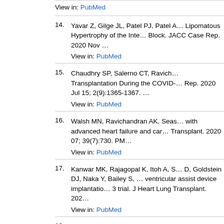14. Yavar Z, Gilge JL, Patel PJ, Patel A… Lipomatous Hypertrophy of the Inte… Block. JACC Case Rep. 2020 Nov … View in: PubMed
15. Chaudhry SP, Salerno CT, Ravicha… Transplantation During the COVID-… Rep. 2020 Jul 15; 2(9):1365-1367. … View in: PubMed
16. Walsh MN, Ravichandran AK, Seas… with advanced heart failure and car… Transplant. 2020 07; 39(7):730. PM… View in: PubMed
17. Kanwar MK, Rajagopal K, Itoh A, S… D, Goldstein DJ, Naka Y, Bailey S, … ventricular assist device implantatio… 3 trial. J Heart Lung Transplant. 202… View in: PubMed
18. Teuteberg JJ, Cleveland JC, Cowge… SL, Salerno CT, Stehlik J, Fernande… Surgeons Intermacs 2019 Annual R… Ann Thorac Surg. 2020 03; 109(3):…